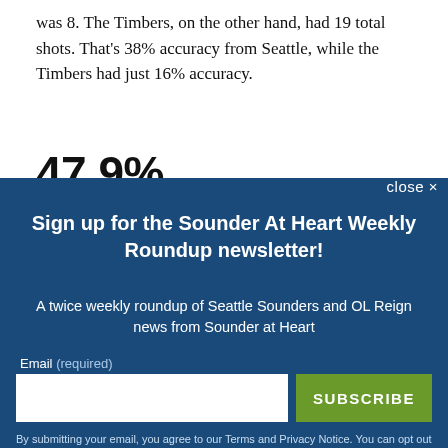was 8. The Timbers, on the other hand, had 19 total shots. That's 38% accuracy from Seattle, while the Timbers had just 16% accuracy.
47.9%
For one of the first times this season, the Sounders
close ✕
Sign up for the Sounder At Heart Weekly Roundup newsletter!
A twice weekly roundup of Seattle Sounders and OL Reign news from Sounder at Heart
Email (required)
SUBSCRIBE
By submitting your email, you agree to our Terms and Privacy Notice. You can opt out at any time. This site is protected by reCAPTCHA and the Google Privacy Policy and Terms of Service apply.